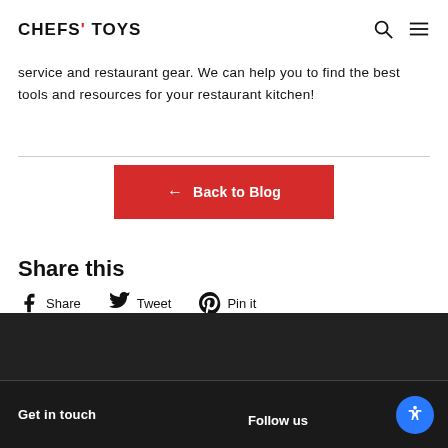CHEFS' TOYS
service and restaurant gear. We can help you to find the best tools and resources for your restaurant kitchen!
[Figure (other): Red 'Back to Blog' button with left arrow icon]
Share this
Share
Tweet
Pin it
Get in touch   Follow us